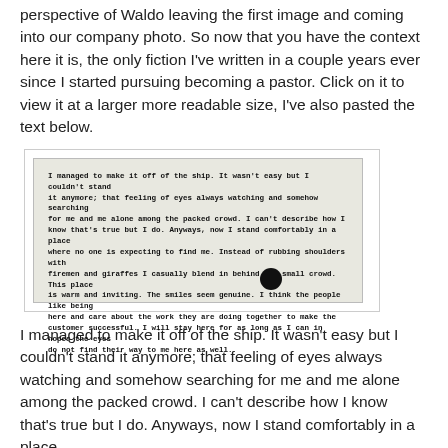perspective of Waldo leaving the first image and coming into our company photo. So now that you have the context here it is, the only fiction I've written in a couple years ever since I started pursuing becoming a pastor. Click on it to view it at a larger more readable size, I've also pasted the text below.
[Figure (photo): A photograph of a handwritten note on paper. The note reads: I managed to make it off of the ship. It wasn't easy but I couldn't stand it anymore; that feeling of eyes always watching and somehow searching for me and me alone among the packed crowd. I can't describe how I know that's true but I do. Anyways, now I stand comfortably in a place where no one is expecting to find me. Instead of rubbing shoulders with firemen and giraffes I casually blend in behind the small crowd. This place is warm and inviting. The smiles seem genuine. I think the people like being here and care about the work they are doing together to make the customer successful. I will stay here for as long as I can in hopes the eyes do not find their way to me here as well. A dark circular object is visible at the bottom of the image.]
I managed to make it off of the ship. It wasn't easy but I couldn't stand it anymore; that feeling of eyes always watching and somehow searching for me and me alone among the packed crowd. I can't describe how I know that's true but I do. Anyways, now I stand comfortably in a place